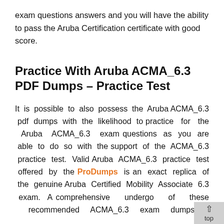exam questions answers and you will have the ability to pass the Aruba Certification certificate with good score.
Practice With Aruba ACMA_6.3 PDF Dumps – Practice Test
It is possible to also possess the Aruba ACMA_6.3 pdf dumps with the likelihood to practice for the Aruba ACMA_6.3 exam questions as you are able to do so with the support of the ACMA_6.3 practice test. Valid Aruba ACMA_6.3 practice test offered by the ProDumps is an exact replica of the genuine Aruba Certified Mobility Associate 6.3 exam. A comprehensive undergo of these recommended ACMA_6.3 exam dumps